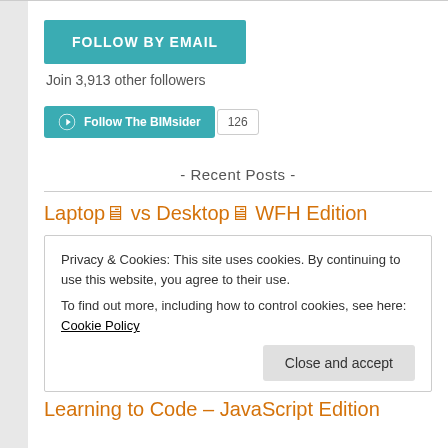[Figure (other): FOLLOW BY EMAIL teal button]
Join 3,913 other followers
[Figure (other): WordPress Follow The BIMsider button with count 126]
- Recent Posts -
Laptop🖥 vs Desktop🖥 WFH Edition
Privacy & Cookies: This site uses cookies. By continuing to use this website, you agree to their use.
To find out more, including how to control cookies, see here: Cookie Policy
Close and accept
Learning to Code – JavaScript Edition